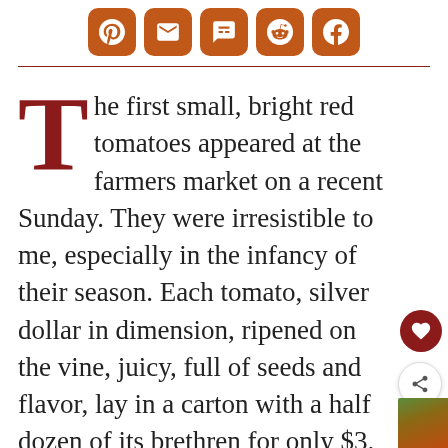[Figure (other): Social sharing icons row: Pinterest, Email, SMS, Reddit, Facebook — orange rounded square buttons]
The first small, bright red tomatoes appeared at the farmers market on a recent Sunday. They were irresistible to me, especially in the infancy of their season. Each tomato, silver dollar in dimension, ripened on the vine, juicy, full of seeds and flavor, lay in a carton with a half dozen of its brethren for only $3. Two days later there was only one left.